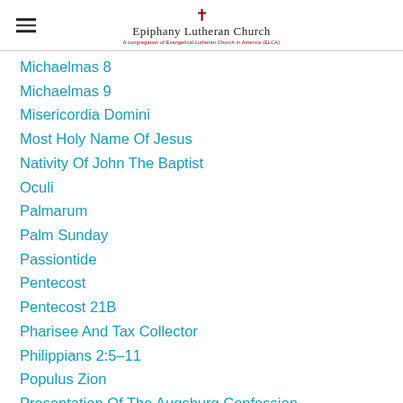Epiphany Lutheran Church
Michaelmas 8
Michaelmas 9
Misericordia Domini
Most Holy Name Of Jesus
Nativity Of John The Baptist
Oculi
Palmarum
Palm Sunday
Passiontide
Pentecost
Pentecost 21B
Pharisee And Tax Collector
Philippians 2:5–11
Populus Zion
Presentation Of The Augsburg Confession
Psalm 118
Psalm 119:73–80